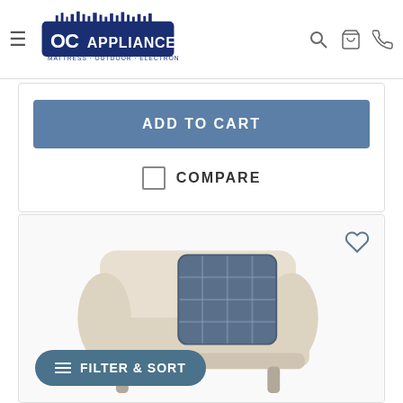OC Appliance – Mattress · Outdoor · Electronics
ADD TO CART
COMPARE
[Figure (photo): Beige upholstered oversized accent chair with a blue plaid throw pillow, photographed on a white background. A wishlist heart icon appears in the upper right. A FILTER & SORT button appears in the lower left.]